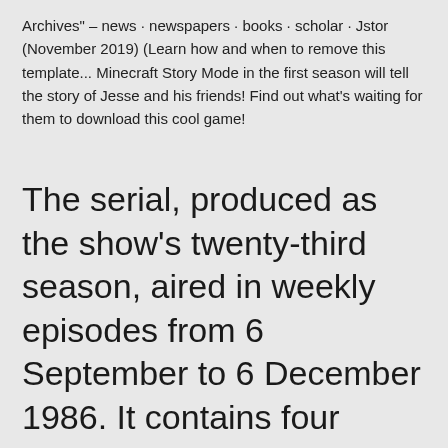Archives" – news · newspapers · books · scholar · Jstor (November 2019) (Learn how and when to remove this template... Minecraft Story Mode in the first season will tell the story of Jesse and his friends! Find out what's waiting for them to download this cool game!
The serial, produced as the show's twenty-third season, aired in weekly episodes from 6 September to 6 December 1986. It contains four adventures: The Mysterious Planet, Mindwarp, Terror of the Vervoids and Colin Baker's final story as the...